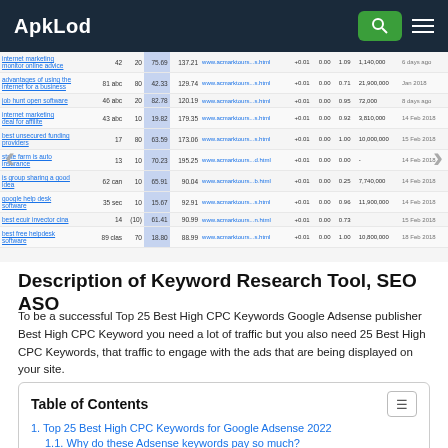ApkLod
[Figure (screenshot): Screenshot of a keyword research tool showing a table with columns for keywords, search volume, CPC, URL, and other SEO metrics. Navigation arrows on left and right sides.]
Description of Keyword Research Tool, SEO ASO
To be a successful Top 25 Best High CPC Keywords Google Adsense publisher Best High CPC Keyword you need a lot of traffic but you also need 25 Best High CPC Keywords, that traffic to engage with the ads that are being displayed on your site.
Table of Contents
1. Top 25 Best High CPC Keywords for Google Adsense 2022
1.1. Why do these Adsense keywords pay so much?